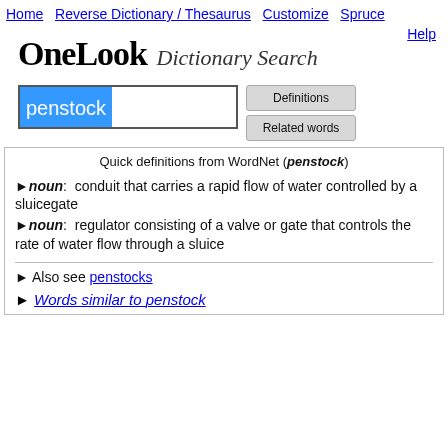Home   Reverse Dictionary / Thesaurus   Customize   Spruce   Help
OneLook Dictionary Search
penstock [search input]
Definitions | Related words
Quick definitions from WordNet (penstock)
► noun:  conduit that carries a rapid flow of water controlled by a sluicegate
► noun:  regulator consisting of a valve or gate that controls the rate of water flow through a sluice
► Also see penstocks
► Words similar to penstock